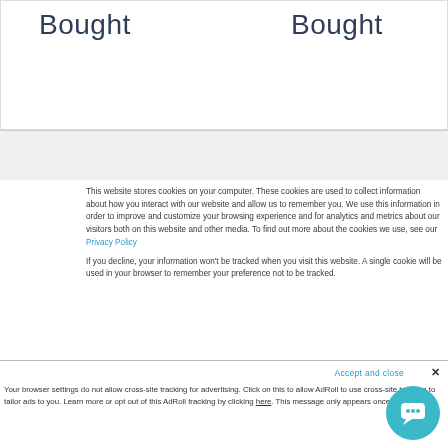Bought
Bought
This website stores cookies on your computer. These cookies are used to collect information about how you interact with our website and allow us to remember you. We use this information in order to improve and customize your browsing experience and for analytics and metrics about our visitors both on this website and other media. To find out more about the cookies we use, see our Privacy Policy

If you decline, your information won't be tracked when you visit this website. A single cookie will be used in your browser to remember your preference not to be tracked.
Accept and close ✕
Your browser settings do not allow cross-site tracking for advertising. Click on this to allow AdRoll to use cross-site tracking to tailor ads to you. Learn more or opt out of this AdRoll tracking by clicking here. This message only appears once.
[Figure (illustration): Teal chat bubble icon in bottom right corner]